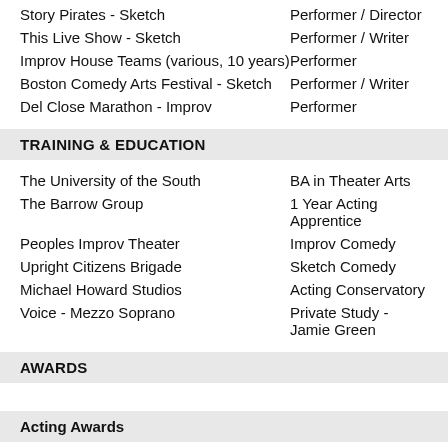Story Pirates - Sketch | Performer / Director
This Live Show - Sketch | Performer / Writer
Improv House Teams (various, 10 years) | Performer
Boston Comedy Arts Festival - Sketch | Performer / Writer
Del Close Marathon - Improv | Performer
TRAINING & EDUCATION
The University of the South | BA in Theater Arts
The Barrow Group | 1 Year Acting Apprentice
Peoples Improv Theater | Improv Comedy
Upright Citizens Brigade | Sketch Comedy
Michael Howard Studios | Acting Conservatory
Voice - Mezzo Soprano | Private Study - Jamie Green
AWARDS
Acting Awards
Independent Shorts Awards | Best Ensemble for Embalming Flu...